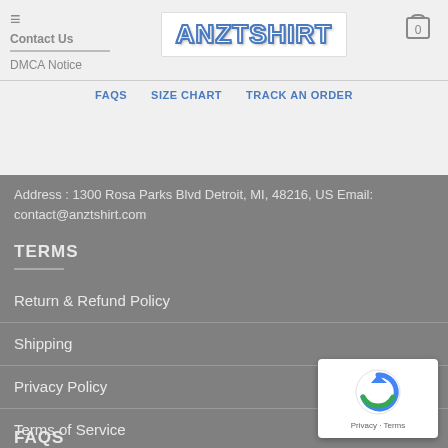Contact Us | DMCA Notice
[Figure (logo): ANZTSHIRT logo in bold white letters with blue outline on white background]
FAQS  SIZE CHART  TRACK AN ORDER
Address : 1300 Rosa Parks Blvd Detroit, MI, 48216, US Email: contact@anztshirt.com
TERMS
Return & Refund Policy
Shipping
Privacy Policy
Terms of Service
FAQS
FAQS